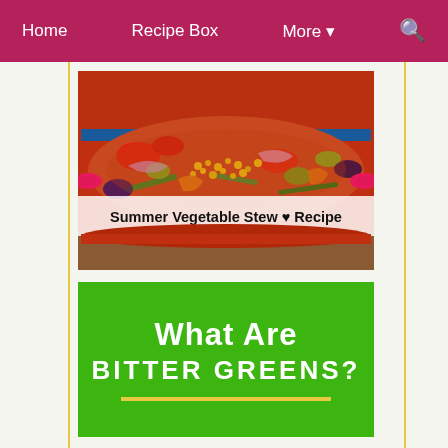Home   Recipe Box   More ▾   🔍
[Figure (photo): Photo of a colorful summer vegetable stew in a red Dutch oven pot on a wooden table, showing corn, green beans, tomatoes, peppers, zucchini, onions, and eggplant in a broth]
Summer Vegetable Stew ♥ Recipe
[Figure (infographic): Green infographic banner with white bold text reading 'What Are BITTER GREENS?' with a yellow horizontal line at the bottom]